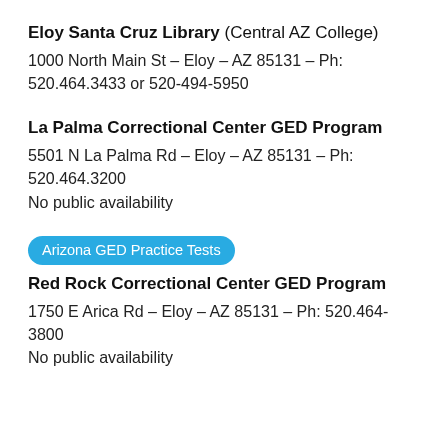Eloy Santa Cruz Library (Central AZ College)
1000 North Main St – Eloy – AZ 85131 – Ph: 520.464.3433 or 520-494-5950
La Palma Correctional Center GED Program
5501 N La Palma Rd – Eloy – AZ 85131 – Ph: 520.464.3200
No public availability
Arizona GED Practice Tests
Red Rock Correctional Center GED Program
1750 E Arica Rd – Eloy – AZ 85131 – Ph: 520.464-3800
No public availability